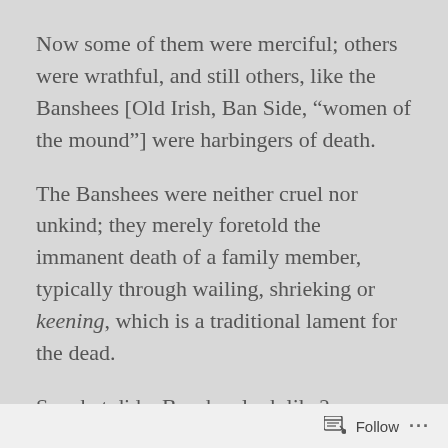Now some of them were merciful; others were wrathful, and still others, like the Banshees [Old Irish, Ban Side, “women of the mound”] were harbingers of death.
The Banshees were neither cruel nor unkind; they merely foretold the immanent death of a family member, typically through wailing, shrieking or keening, which is a traditional lament for the dead.
So what did a Banshee look like?
Well, their appearance varied by account and region. They have been described as having
Follow ...